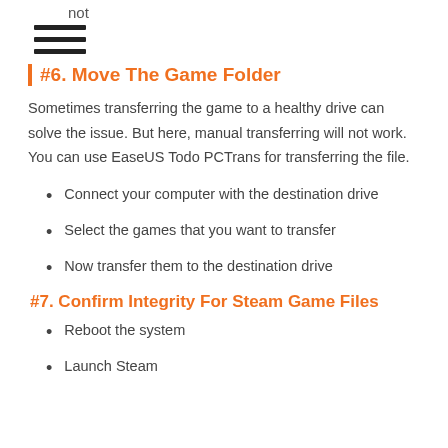not
#6. Move The Game Folder
Sometimes transferring the game to a healthy drive can solve the issue. But here, manual transferring will not work. You can use EaseUS Todo PCTrans for transferring the file.
Connect your computer with the destination drive
Select the games that you want to transfer
Now transfer them to the destination drive
#7. Confirm Integrity For Steam Game Files
Reboot the system
Launch Steam